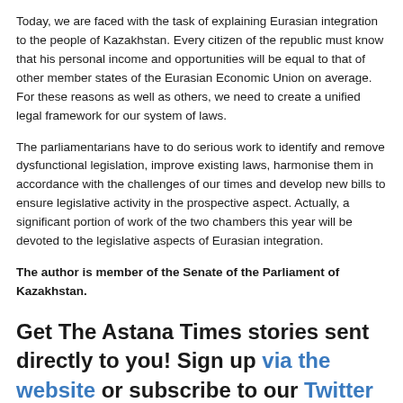Today, we are faced with the task of explaining Eurasian integration to the people of Kazakhstan. Every citizen of the republic must know that his personal income and opportunities will be equal to that of other member states of the Eurasian Economic Union on average. For these reasons as well as others, we need to create a unified legal framework for our system of laws.
The parliamentarians have to do serious work to identify and remove dysfunctional legislation, improve existing laws, harmonise them in accordance with the challenges of our times and develop new bills to ensure legislative activity in the prospective aspect. Actually, a significant portion of work of the two chambers this year will be devoted to the legislative aspects of Eurasian integration.
The author is member of the Senate of the Parliament of Kazakhstan.
Get The Astana Times stories sent directly to you! Sign up via the website or subscribe to our Twitter and Telegram!